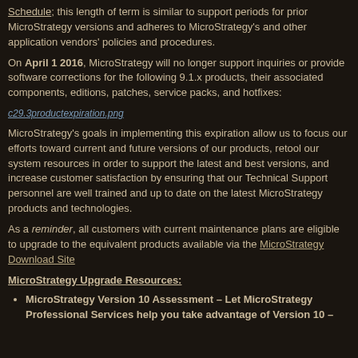Schedule; this length of term is similar to support periods for prior MicroStrategy versions and adheres to MicroStrategy's and other application vendors' policies and procedures.
On April 1 2016, MicroStrategy will no longer support inquiries or provide software corrections for the following 9.1.x products, their associated components, editions, patches, service packs, and hotfixes:
[Figure (screenshot): Image placeholder labeled c29.3productexpiration.png]
MicroStrategy's goals in implementing this expiration allow us to focus our efforts toward current and future versions of our products, retool our system resources in order to support the latest and best versions, and increase customer satisfaction by ensuring that our Technical Support personnel are well trained and up to date on the latest MicroStrategy products and technologies.
As a reminder, all customers with current maintenance plans are eligible to upgrade to the equivalent products available via the MicroStrategy Download Site
MicroStrategy Upgrade Resources:
MicroStrategy Version 10 Assessment – Let MicroStrategy Professional Services help you take advantage of Version 10 –